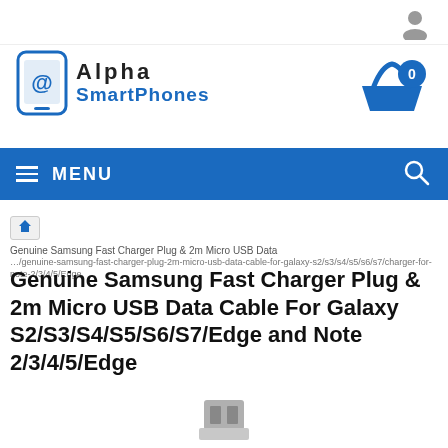[Figure (logo): Alpha SmartPhones logo with smartphone icon, blue and black text]
[Figure (illustration): Shopping cart icon with blue basket and circle showing 0 items, and user/person icon in grey]
MENU
Genuine Samsung Fast Charger Plug & 2m Micro USB Data
Genuine Samsung Fast Charger Plug & 2m Micro USB Data Cable For Galaxy S2/S3/S4/S5/S6/S7/Edge and Note 2/3/4/5/Edge
[Figure (photo): USB connector/plug partially visible at the bottom of the page]